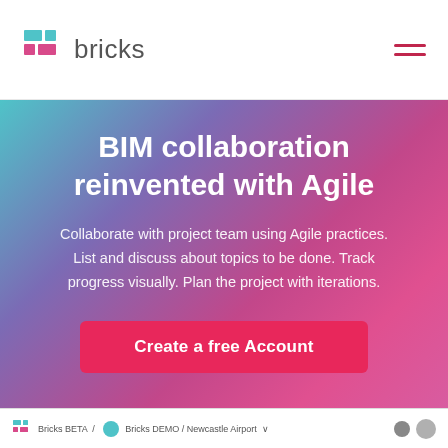bricks
BIM collaboration reinvented with Agile
Collaborate with project team using Agile practices. List and discuss about topics to be done. Track progress visually. Plan the project with iterations.
Create a free Account
[Figure (screenshot): Bottom strip showing Bricks BETA app interface with logo, navigation breadcrumb, and user avatar icons]